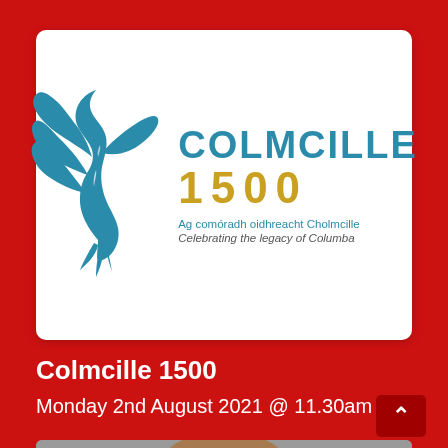[Figure (logo): Colmcille 1500 logo — a blue dove/bird with wings spread, beside 'COLMCILLE' in blue and '1500' in gold, with bilingual tagline 'Ag comóradh oidhreacht Cholmcille / Celebrating the legacy of Columba']
Colmcille 1500
Monday 2nd August 2021 @ 11.30am
[Figure (photo): Partial photo of a person, cropped at bottom of page]